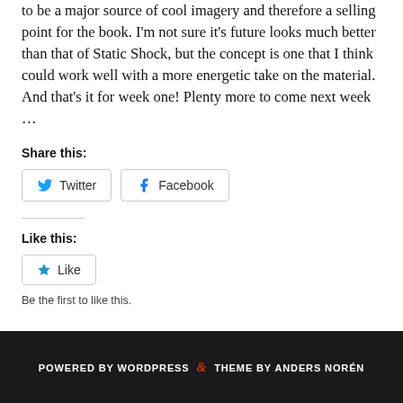to be a major source of cool imagery and therefore a selling point for the book. I'm not sure it's future looks much better than that of Static Shock, but the concept is one that I think could work well with a more energetic take on the material.
And that's it for week one! Plenty more to come next week …
Share this:
Twitter
Facebook
Like this:
Like
Be the first to like this.
POWERED BY WORDPRESS & THEME BY ANDERS NORÉN